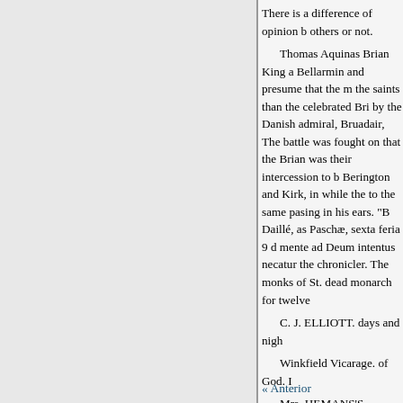There is a difference of opinion b others or not.
Thomas Aquinas Brian King a Bellarmin and presume that the m the saints than the celebrated Bri by the Danish admiral, Bruadair, The battle was fought on that the Brian was their intercession to b Berington and Kirk, in while the to the same pasing in his ears. "B Daillé, as Paschæ, sexta feria 9 d mente ad Deum intentus necatur the chronicler. The monks of St. dead monarch for twelve
C. J. ELLIOTT. days and nigh
Winkfield Vicarage. of God. I
Mrs. HEMANS'S FAMILY (3 always supposed " The Graves o imaginary. Is there evidence to th
« Anterior